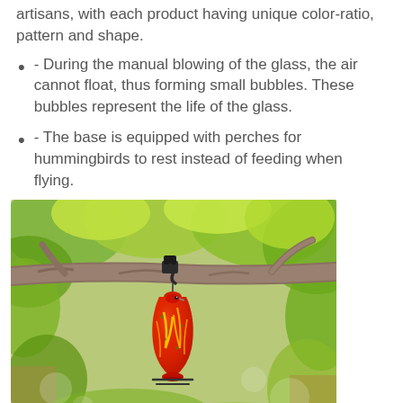artisans, with each product having unique color-ratio, pattern and shape.
- During the manual blowing of the glass, the air cannot float, thus forming small bubbles. These bubbles represent the life of the glass.
- The base is equipped with perches for hummingbirds to rest instead of feeding when flying.
[Figure (photo): A red and yellow hand-blown glass hummingbird feeder shaped like a bird, hanging from a metal hook attached to a tree branch. The background shows green leaves and a blurred outdoor garden scene.]